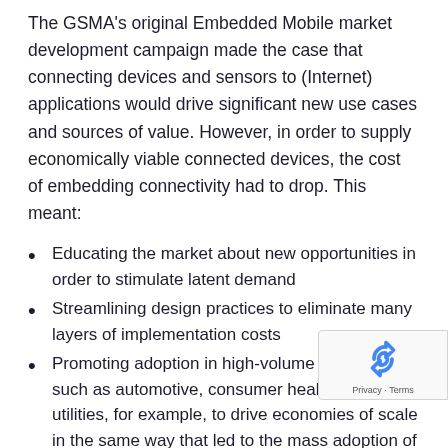The GSMA's original Embedded Mobile market development campaign made the case that connecting devices and sensors to (Internet) applications would drive significant new use cases and sources of value. However, in order to supply economically viable connected devices, the cost of embedding connectivity had to drop. This meant:
Educating the market about new opportunities in order to stimulate latent demand
Streamlining design practices to eliminate many layers of implementation costs
Promoting adoption in high-volume markets such as automotive, consumer health and smart utilities, for example, to drive economies of scale in the same way that led to the mass adoption of mobile phones